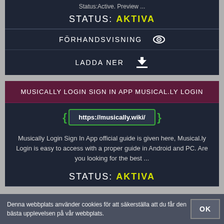Status:Active. Preview ...
STATUS: AKTIVA
FÖRHANDSVISNING
LADDA NER
MUSICALLY LOGIN SIGN IN APP MUSICAL.LY LOGIN
https://musically.wiki/
Musically Login Sign In App official guide is given here, Musical.ly Login is easy to access with a proper guide in Android and PC. Are you looking for the best ...
STATUS: AKTIVA
Denna webbplats använder cookies för att säkerställa att du får den bästa upplevelsen på vår webbplats.